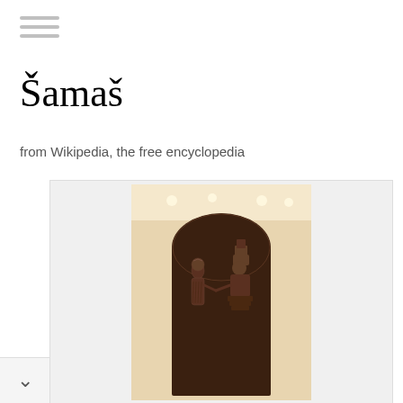≡ (menu icon)
Šamaš
from Wikipedia, the free encyclopedia
[Figure (photo): Photograph of the Hammurabi stele (Code of Hammurabi), a large dark stone stele with an arched top, displayed in a museum. The upper portion shows a bas-relief carving of two figures: a standing figure on the left facing right, and a seated figure on the right wearing a horned crown (likely Šamaš, the sun god), handing or receiving something. The stele is dark brown/black basalt. Museum lighting is visible in the background with a warm cream-colored ceiling.]